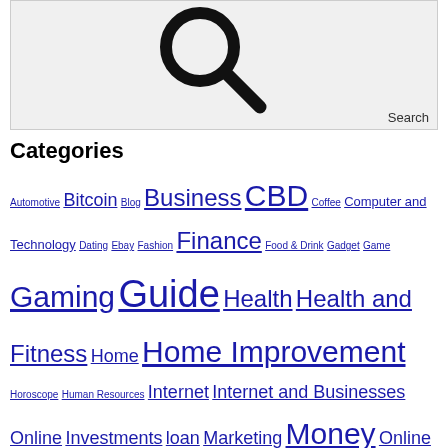[Figure (illustration): Search box with a large magnifying glass icon and 'Search' label in the bottom right corner]
Categories
Automotive Bitcoin Blog Business CBD Coffee Computer and Technology Dating Ebay Fashion Finance Food & Drink Gadget Game Gaming Guide Health Health and Fitness Home Home Improvement Horoscope Human Resources Internet Internet and Businesses Online Investments loan Marketing Money Online Pension Perfume Pet Care Pets Review Scent Self Improvement Shopping and Product Reviews Smoking Social Media Sport Style Tech Tips Travel and Lesuire Uncategorized